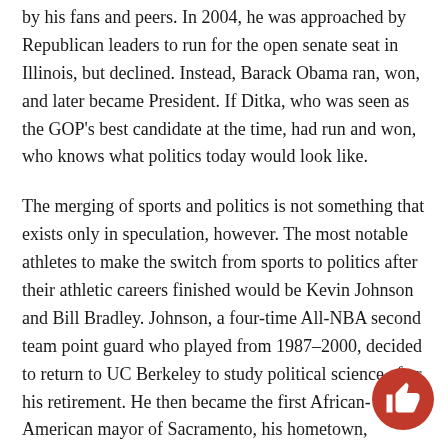by his fans and peers. In 2004, he was approached by Republican leaders to run for the open senate seat in Illinois, but declined. Instead, Barack Obama ran, won, and later became President. If Ditka, who was seen as the GOP's best candidate at the time, had run and won, who knows what politics today would look like.
The merging of sports and politics is not something that exists only in speculation, however. The most notable athletes to make the switch from sports to politics after their athletic careers finished would be Kevin Johnson and Bill Bradley. Johnson, a four-time All-NBA second team point guard who played from 1987–2000, decided to return to UC Berkeley to study political science after his retirement. He then became the first African-American mayor of Sacramento, his hometown, winning both in 2008 with a landslide election and then in his 2012 re-election.
While Johnson managed to launch education initiatives to benefit students in Sacramento, CA — as well as fight to keep the Sacramento Kings, the capital city's NBA team, from moving to Anaheim, CA or Seattle — Bradley was unquestionably the most successful athlete-turned-politician. Bradley, who declined all 75 of his basketball